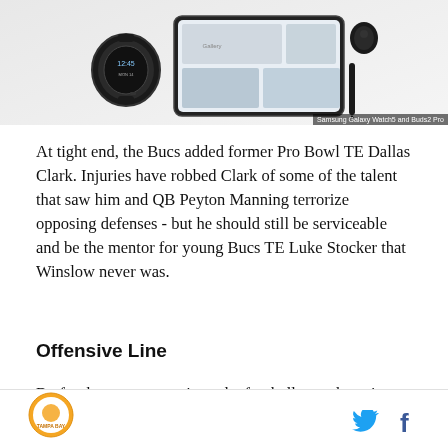[Figure (photo): Samsung Galaxy Watch5 and Buds2 Pro product photo on white/light background]
Samsung Galaxy Watch5 and Buds2 Pro
At tight end, the Bucs added former Pro Bowl TE Dallas Clark. Injuries have robbed Clark of some of the talent that saw him and QB Peyton Manning terrorize opposing defenses - but he should still be serviceable and be the mentor for young Bucs TE Luke Stocker that Winslow never was.
Offensive Line
By far the strongest unit on the football team boasting three players who have played in the Pro Bowl, the Bucs have one of the most dynamic offensive lines in
Tampa Bay Times logo | Twitter | Facebook